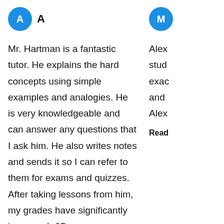[Figure (other): Blue circular avatar with white letter A, followed by bold letter A label]
Mr. Hartman is a fantastic tutor. He explains the hard concepts using simple examples and analogies. He is very knowledgeable and can answer any questions that I ask him. He also writes notes and sends it so I can refer to them for exams and quizzes. After taking lessons from him, my grades have significantly increased. JO
Read more
[Figure (other): Blue circular avatar with white letter M (partially visible at right edge)]
Alex stud exac and Alex
Read